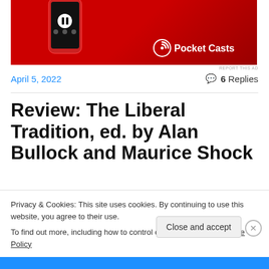[Figure (photo): Pocket Casts app advertisement banner showing a smartphone with red case on red background with Pocket Casts logo and text]
REPORT THIS AD
April 5, 2022
💬 6 Replies
Review: The Liberal Tradition, ed. by Alan Bullock and Maurice Shock
Privacy & Cookies: This site uses cookies. By continuing to use this website, you agree to their use.
To find out more, including how to control cookies, see here: Cookie Policy
Close and accept